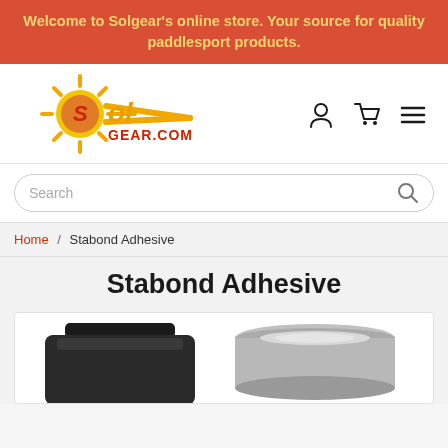Welcome to Solgear's online store. Your source for quality paddlesport products.
[Figure (logo): Solgear.com logo with yellow sun and red GEAR.COM text]
[Figure (infographic): Navigation icons: user account, shopping cart, hamburger menu]
Search
Home / Stabond Adhesive
Stabond Adhesive
[Figure (photo): Product photo showing Stabond Adhesive containers: a black screw-top cap jar on the left and a silver metal tin on the right]